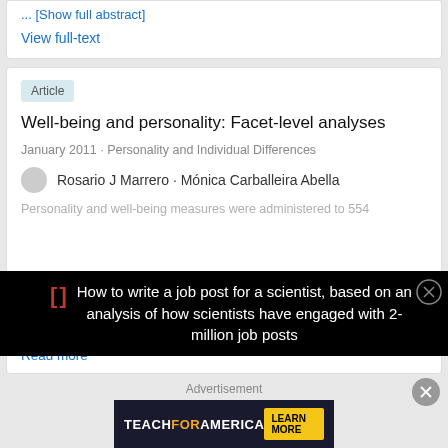... [Show full abstract]
View full-text
Article
Well-being and personality: Facet-level analyses
January 2011 · Personality and Individual Differences
Rosario J Marrero · Mónica Carballeira Abella
Personality and well-being measures were administered to 554
Read more
How to write a job post for a scientist, based on an analysis of how scientists have engaged with 2-million job posts
Advertisement
TEACHFORAMERICA  LEARN MORE